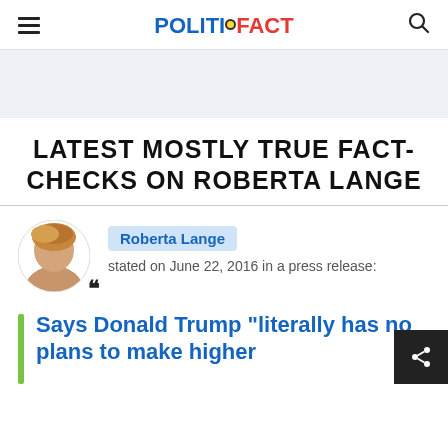POLITIFACT
LATEST MOSTLY TRUE FACT-CHECKS ON ROBERTA LANGE
Roberta Lange stated on June 22, 2016 in a press release:
Says Donald Trump "literally has no plans to make higher